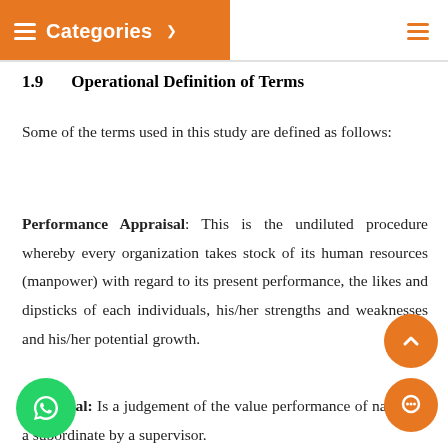Categories
1.9   Operational Definition of Terms
Some of the terms used in this study are defined as follows:
Performance Appraisal: This is the undiluted procedure whereby every organization takes stock of its human resources (manpower) with regard to its present performance, the likes and dipsticks of each individuals, his/her strengths and weaknesses and his/her potential growth.
Appraisal: Is a judgement of the value performance of nature of a subordinate by a supervisor.